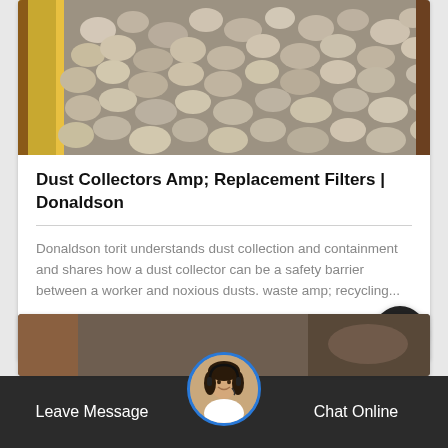[Figure (photo): Photo of gravel/stones on a conveyor or industrial surface, with yellow metal frame visible on the left side]
Dust Collectors Amp; Replacement Filters | Donaldson
Donaldson torit understands dust collection and containment and shares how a dust collector can be a safety barrier between a worker and noxious dusts. waste amp; recycling...
See Details
[Figure (photo): Partial photo visible at the bottom of page, appears to be an industrial setting]
Leave Message
[Figure (photo): Customer service representative avatar — woman with headset, circular portrait with blue border]
Chat Online